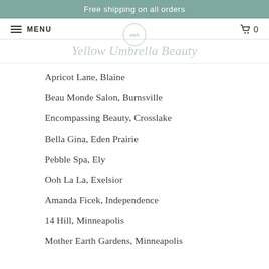Free shipping on all orders
MENU  [logo]  0
Yellow Umbrella Beauty
Apricot Lane, Blaine
Beau Monde Salon, Burnsville
Encompassing Beauty, Crosslake
Bella Gina, Eden Prairie
Pebble Spa, Ely
Ooh La La, Exelsior
Amanda Ficek, Independence
14 Hill, Minneapolis
Mother Earth Gardens, Minneapolis